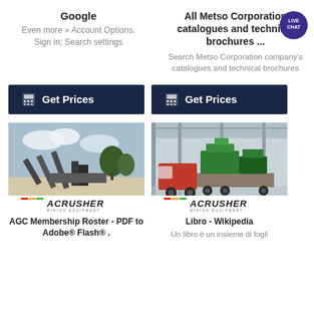Google
Even more » Account Options. Sign in; Search settings
All Metso Corporation catalogues and technical brochures ...
Search Metso Corporation company's catalogues and technical brochures
[Figure (other): Dark navy 'Get Prices' button with calculator icon]
[Figure (other): Dark navy 'Get Prices' button with calculator icon]
[Figure (photo): Photo of mining/crushing equipment outdoors with ACRUSHER logo bar]
[Figure (photo): Photo of large truck with green crushing equipment in a factory hall with ACRUSHER logo bar]
AGC Membership Roster - PDF to Adobe® Flash® .
Libro - Wikipedia
Un libro è un insieme di fogli